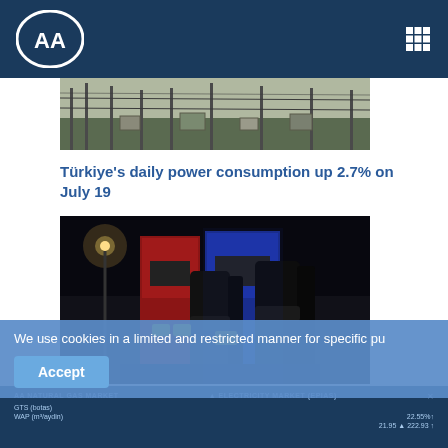Anadolu Agency (AA) - Header navigation bar
[Figure (photo): Partial cropped image of a power infrastructure or industrial facility from a previous article]
Türkiye's daily power consumption up 2.7% on July 19
[Figure (photo): Night photo of gas station fuel pump nozzles at a station, with a red and blue color scheme]
US gasoline prices fall to lowest since May, Brent below $100
AA NATURAL GAS MARKET | ELECTRICITY MARKET (EPIAS) | footer market data rows
We use cookies in a limited and restricted manner for specific pu
Accept